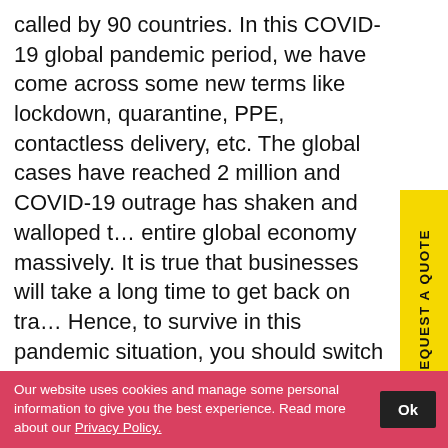called by 90 countries. In this COVID-19 global pandemic period, we have come across some new terms like lockdown, quarantine, PPE, contactless delivery, etc. The global cases have reached 2 million and COVID-19 outrage has shaken and walloped the entire global economy massively. It is true that businesses will take a long time to get back on track. Hence, to survive in this pandemic situation, you should switch to that business that is highly in demand in this global emergency period.

As the entire world is witnessing complete shutdown, more and more inhabitants are looking forward to home delivery services to fulfill their daily needs. People are skipping to visit the store and are depending upon on-demand delivery apps to get…
[Figure (other): Yellow vertical sidebar button with rotated bold text reading 'REQUEST A QUOTE']
Our website uses cookies and manage some personal information to give you the best experience. Read more about our Privacy Policy.